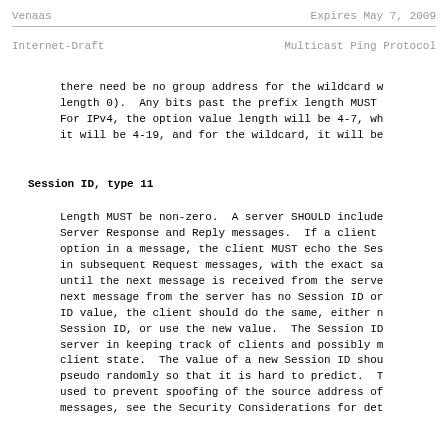Venaas                          Expires May 7, 2009
Internet-Draft              Multicast Ping Protocol
there need be no group address for the wildcard w length 0).  Any bits past the prefix length MUST For IPv4, the option value length will be 4-7, wh it will be 4-19, and for the wildcard, it will be
Session ID, type 11
Length MUST be non-zero.  A server SHOULD include Server Response and Reply messages.  If a client option in a message, the client MUST echo the Ses in subsequent Request messages, with the exact sa until the next message is received from the serve next message from the server has no Session ID or ID value, the client should do the same, either n Session ID, or use the new value.  The Session ID server in keeping track of clients and possibly m client state.  The value of a new Session ID shou pseudo randomly so that it is hard to predict.  T used to prevent spoofing of the source address of messages, see the Security Considerations for det